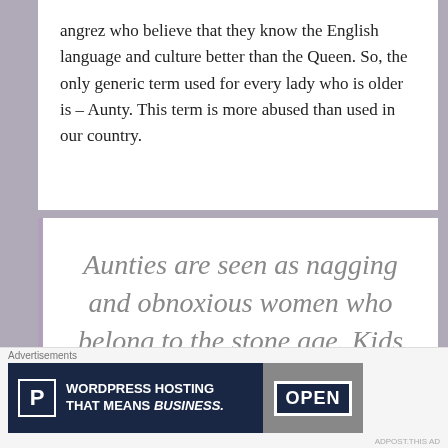angrez who believe that they know the English language and culture better than the Queen. So, the only generic term used for every lady who is older is – Aunty. This term is more abused than used in our country.
Aunties are seen as nagging and obnoxious women who belong to the stone age. Kids who address any random
Advertisements
[Figure (screenshot): WordPress Hosting advertisement banner with P icon and OPEN sign image]